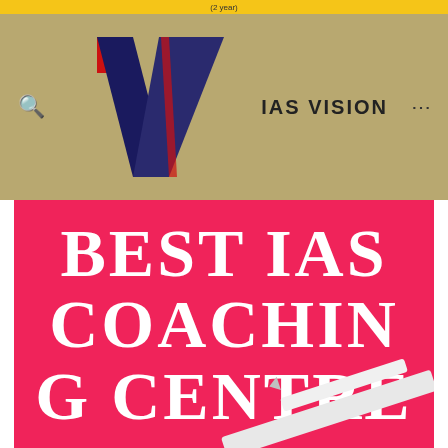(2 year)
[Figure (logo): IAS Vision logo with large V shape in navy blue and red square accent at top left]
IAS VISION
[Figure (infographic): Pink promotional banner reading BEST IAS COACHING CENTRE with a pencil/ruler illustration overlay]